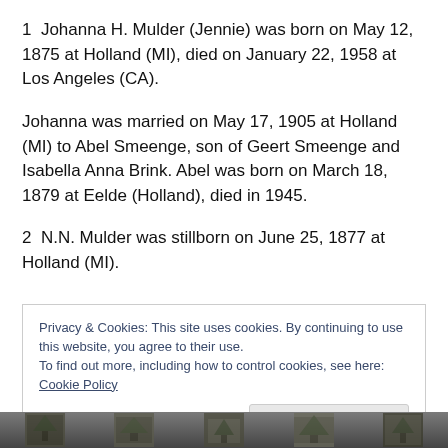1  Johanna H. Mulder (Jennie) was born on May 12, 1875 at Holland (MI), died on January 22, 1958 at Los Angeles (CA).
Johanna was married on May 17, 1905 at Holland (MI) to Abel Smeenge, son of Geert Smeenge and Isabella Anna Brink. Abel was born on March 18, 1879 at Eelde (Holland), died in 1945.
2  N.N. Mulder was stillborn on June 25, 1877 at Holland (MI).
Privacy & Cookies: This site uses cookies. By continuing to use this website, you agree to their use.
To find out more, including how to control cookies, see here: Cookie Policy
[Figure (photo): Strip of outdoor photographs at the bottom of the page showing trees and buildings]